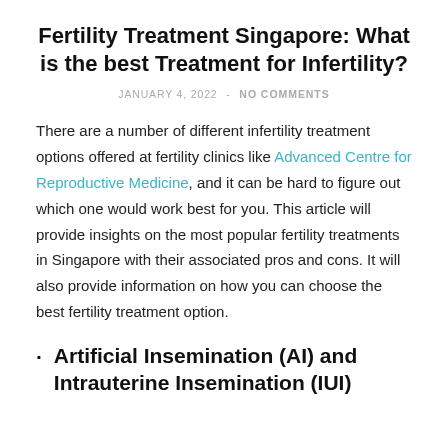Fertility Treatment Singapore: What is the best Treatment for Infertility?
JANUARY 4, 2022  -  NO COMMENTS
There are a number of different infertility treatment options offered at fertility clinics like Advanced Centre for Reproductive Medicine, and it can be hard to figure out which one would work best for you. This article will provide insights on the most popular fertility treatments in Singapore with their associated pros and cons. It will also provide information on how you can choose the best fertility treatment option.
Artificial Insemination (AI) and Intrauterine Insemination (IUI)